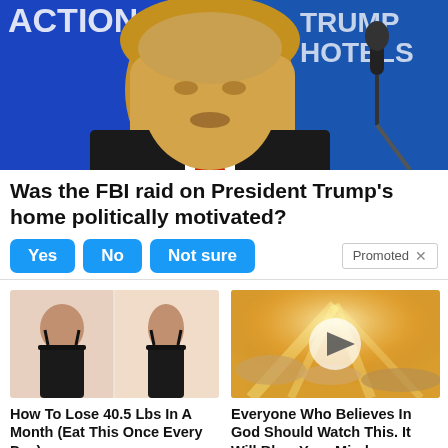[Figure (photo): Man in dark suit with red tie speaking at a podium with microphone, blue background with partial text visible]
Was the FBI raid on President Trump's home politically motivated?
Yes  No  Not sure  Promoted X
[Figure (photo): Before and after photo of woman showing weight loss results]
How To Lose 40.5 Lbs In A Month (Eat This Once Every Day)
18,937
[Figure (photo): Clouds with sunlight rays breaking through, with a play button overlay]
Everyone Who Believes In God Should Watch This. It Will Blow Your Mind
33,551